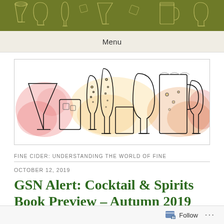[Figure (illustration): Top decorative banner with illustrated cocktail glasses, wine glasses, martini glasses and ice cubes on an olive green background]
Menu
[Figure (illustration): Watercolor illustration of various alcoholic beverage glasses including champagne flutes, wine glasses, beer mugs, with colorful watercolor splashes in red, orange and yellow]
FINE CIDER: UNDERSTANDING THE WORLD OF FINE
OCTOBER 12, 2019
GSN Alert: Cocktail & Spirits Book Preview – Autumn 2019 (October-December)